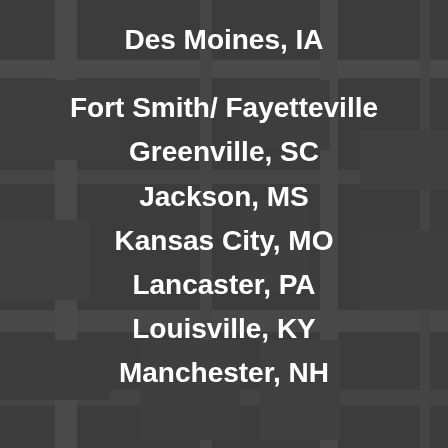Des Moines, IA
Fort Smith/ Fayetteville
Greenville, SC
Jackson, MS
Kansas City, MO
Lancaster, PA
Louisville, KY
Manchester, NH